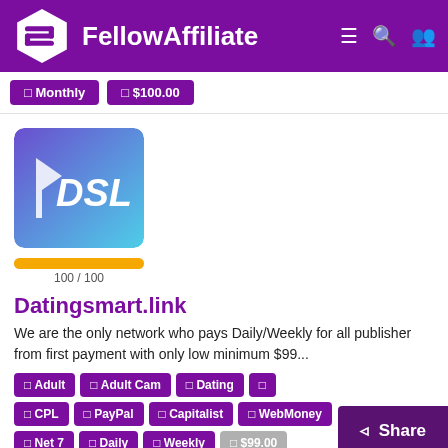FellowAffiliate
Monthly  $100.00
[Figure (logo): DSL affiliate network logo — purple to cyan gradient background with white flag icon and 'DSL' text in white italic]
100 / 100
Datingsmart.link
We are the only network who pays Daily/Weekly for all publisher from first payment with only low minimum $99...
Adult   Adult Cam   Dating
CPL   PayPal   Capitalist   WebMoney
Net 7   Daily   Weekly   $99.00